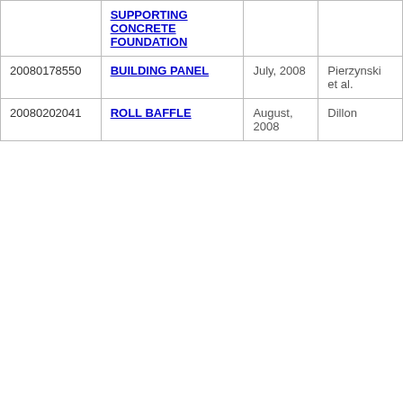|  | SUPPORTING CONCRETE FOUNDATION |  |  |
| 20080178550 | BUILDING PANEL | July, 2008 | Pierzynski et al. |
| 20080202041 | ROLL BAFFLE | August, 2008 | Dillon |